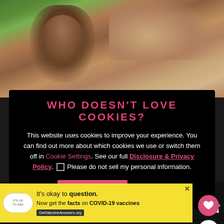[Figure (photo): Close-up photo of monkeys (macaques) in a natural outdoor setting with rocks and green foliage]
WHO DOESN'T LOVE COOKIES?
This website uses cookies to improve your experience. You can find out more about which cookies we use or switch them off in Cookie Settings. See our full Disclosure & Privacy Policy. Please do not sell my personal information.
ACCEPT
Decline
WHAT'S NEXT → Where To Stay and Eat in...
[Figure (photo): Small thumbnail food/travel image]
It's okay to question. Now get the facts on COVID-19 vaccines GetVaccineAnswers.org